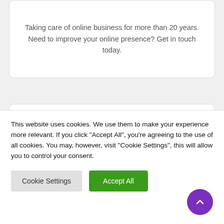Taking care of online business for more than 20 years. Need to improve your online presence? Get in touch today.
Popular Post
This website uses cookies. We use them to make your experience more relevant. If you click "Accept All", you're agreeing to the use of all cookies. You may, however, visit "Cookie Settings", this will allow you to control your consent.